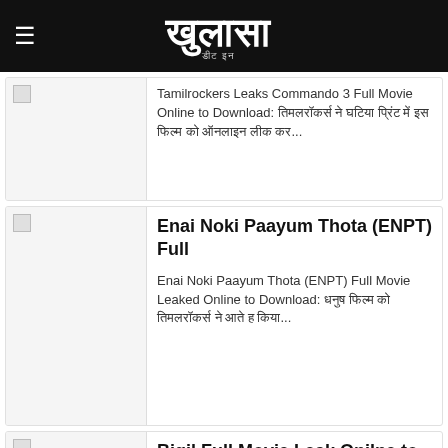खुलासा
Tamilrockers Leaks Commando 3 Full Movie Online to Download: तिमलरॉकर्स ने घटिया प्रिंट में इस फिल्म को ऑनलाइन लीक कर...
Enai Noki Paayum Thota (ENPT) Full
Enai Noki Paayum Thota (ENPT) Full Movie Leaked Online to Download: धनुष फिल्म को तिमलरॉकर्स ने आते ह किया...
Bigil Full Movie Leak Onilne to Download